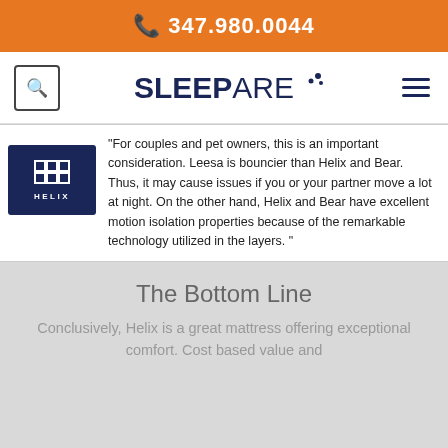📞 347.980.0044
[Figure (logo): SLEEPARE logo with dots, search icon, and hamburger menu navigation bar]
"For couples and pet owners, this is an important consideration. Leesa is bouncier than Helix and Bear. Thus, it may cause issues if you or your partner move a lot at night. On the other hand, Helix and Bear have excellent motion isolation properties because of the remarkable technology utilized in the layers. "
The Bottom Line
Conclusively, Helix is a great mattress offering exceptional comfort. Cost based value and